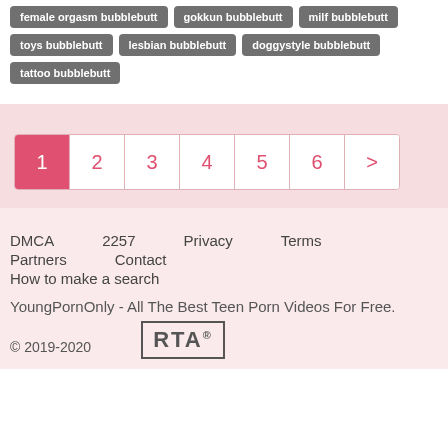female orgasm bubblebutt
gokkun bubblebutt
milf bubblebutt
toys bubblebutt
lesbian bubblebutt
doggystyle bubblebutt
tattoo bubblebutt
1 2 3 4 5 6 >
DMCA  2257  Privacy  Terms  Partners  Contact  How to make a search  YoungPornOnly - All The Best Teen Porn Videos For Free.  © 2019-2020  RTA®